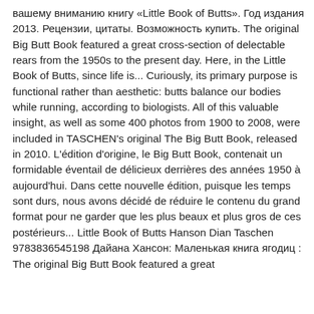вашему вниманию книгу «Little Book of Butts». Год издания 2013. Рецензии, цитаты. Возможность купить. The original Big Butt Book featured a great cross-section of delectable rears from the 1950s to the present day. Here, in the Little Book of Butts, since life is... Curiously, its primary purpose is functional rather than aesthetic: butts balance our bodies while running, according to biologists. All of this valuable insight, as well as some 400 photos from 1900 to 2008, were included in TASCHEN's original The Big Butt Book, released in 2010. L'édition d'origine, le Big Butt Book, contenait un formidable éventail de délicieux derrières des années 1950 à aujourd'hui. Dans cette nouvelle édition, puisque les temps sont durs, nous avons décidé de réduire le contenu du grand format pour ne garder que les plus beaux et plus gros de ces postérieurs... Little Book of Butts Hanson Dian Taschen 9783836545198 Дайана Хансон: Маленькая книга ягодиц : The original Big Butt Book featured a great